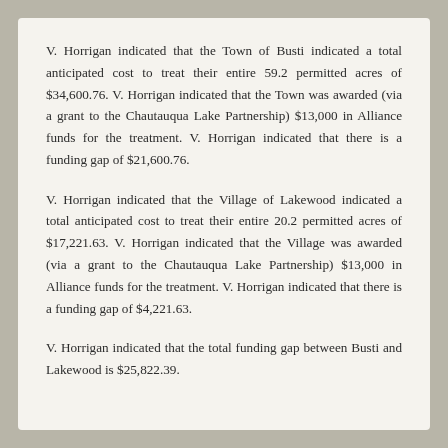V. Horrigan indicated that the Town of Busti indicated a total anticipated cost to treat their entire 59.2 permitted acres of $34,600.76. V. Horrigan indicated that the Town was awarded (via a grant to the Chautauqua Lake Partnership) $13,000 in Alliance funds for the treatment. V. Horrigan indicated that there is a funding gap of $21,600.76.
V. Horrigan indicated that the Village of Lakewood indicated a total anticipated cost to treat their entire 20.2 permitted acres of $17,221.63. V. Horrigan indicated that the Village was awarded (via a grant to the Chautauqua Lake Partnership) $13,000 in Alliance funds for the treatment. V. Horrigan indicated that there is a funding gap of $4,221.63.
V. Horrigan indicated that the total funding gap between Busti and Lakewood is $25,822.39.